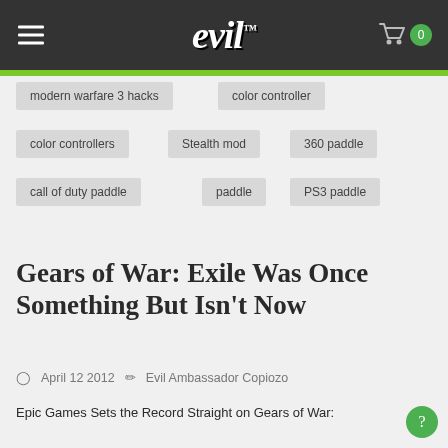evil — navigation header with hamburger menu and cart
modern warfare 3 hacks
color controller
color controllers
Stealth mod
360 paddle
call of duty paddle
paddle
PS3 paddle
Gears of War: Exile Was Once Something But Isn't Now
April 12 2012  Evil Ambassador Copiozo
Epic Games Sets the Record Straight on Gears of War: